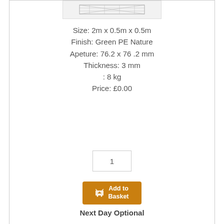[Figure (photo): Wire mesh cage product thumbnail image at top of card]
Size: 2m x 0.5m x 0.5m
Finish: Green PE Nature
Apeture: 76.2 x 76 .2 mm
Thickness: 3 mm
: 8 kg
Price: £0.00
[Figure (other): Quantity input box showing value 1]
[Figure (other): Add to Basket button with shopping cart icon, orange background]
Next Day Optional
★ ★ ★ ★ ★
We do not export this product
[Figure (photo): Second product thumbnail image partially visible at bottom of page]